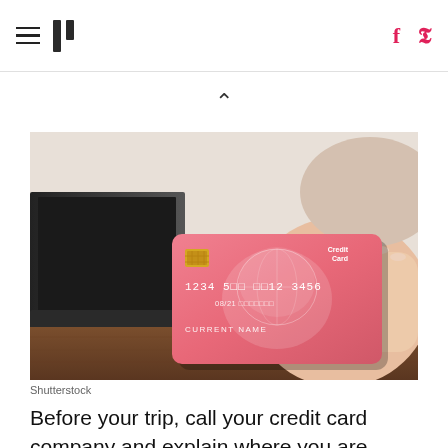HuffPost navigation and social icons header
[Figure (photo): A person holding a pink credit card with number 1234 50...12 3456 and text 'Credit Card' and 'CURRENT NAME' in front of an open laptop on a wooden desk.]
Shutterstock
Before your trip, call your credit card company and explain where you are going and for how long in order to avoid a freeze on your account. In addition, find out exactly how much credit is left on your card